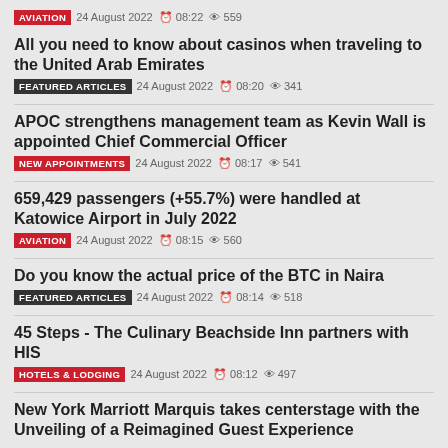AVIATION  24 August 2022  08:22  559
All you need to know about casinos when traveling to the United Arab Emirates
FEATURED ARTICLES  24 August 2022  08:20  341
APOC strengthens management team as Kevin Wall is appointed Chief Commercial Officer
NEW APPOINTMENTS  24 August 2022  08:17  541
659,429 passengers (+55.7%) were handled at Katowice Airport in July 2022
AVIATION  24 August 2022  08:15  560
Do you know the actual price of the BTC in Naira
FEATURED ARTICLES  24 August 2022  08:14  518
45 Steps - The Culinary Beachside Inn partners with HIS
HOTELS & LODGING  24 August 2022  08:12  497
New York Marriott Marquis takes centerstage with the Unveiling of a Reimagined Guest Experience